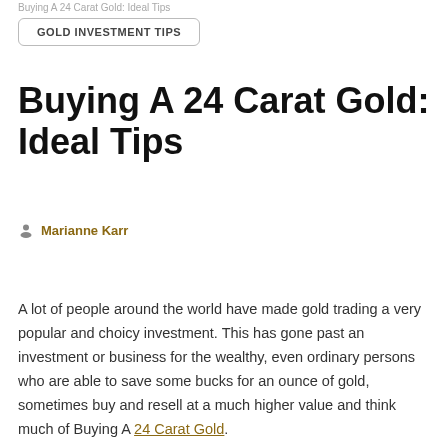Buying A 24 Carat Gold: Ideal Tips
GOLD INVESTMENT TIPS
Buying A 24 Carat Gold: Ideal Tips
Marianne Karr
A lot of people around the world have made gold trading a very popular and choicy investment. This has gone past an investment or business for the wealthy, even ordinary persons who are able to save some bucks for an ounce of gold, sometimes buy and resell at a much higher value and think much of Buying A 24 Carat Gold.